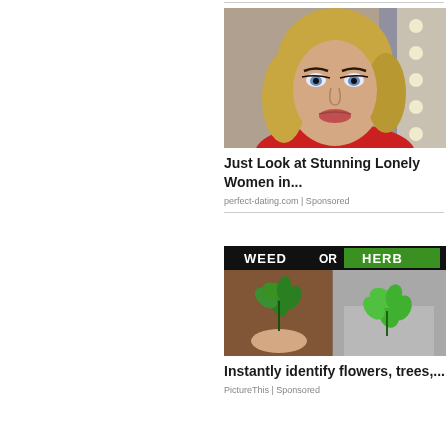[Figure (photo): Photo of a young blonde woman with blue eyes, heavy eye makeup, wearing a red top, taken in what appears to be a dressing room with lights visible in background]
Just Look at Stunning Lonely Women in...
perfect-dating.com | Sponsored
[Figure (photo): Side-by-side comparison image with black background header text reading WEED OR HERB, left side shows a hand holding a green plant over brown soil, right side shows a green herb plant growing from concrete]
Instantly identify flowers, trees,...
PictureThis | Sponsored